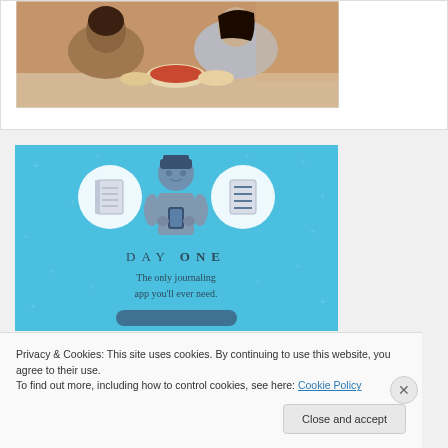[Figure (photo): Photo of people sitting at a table eating food, seen from behind]
[Figure (illustration): Day One journaling app advertisement banner on blue background with illustrated person holding phone, notebook icons, and text 'DAY ONE - The only journaling app you'll ever need.']
Privacy & Cookies: This site uses cookies. By continuing to use this website, you agree to their use.
To find out more, including how to control cookies, see here: Cookie Policy